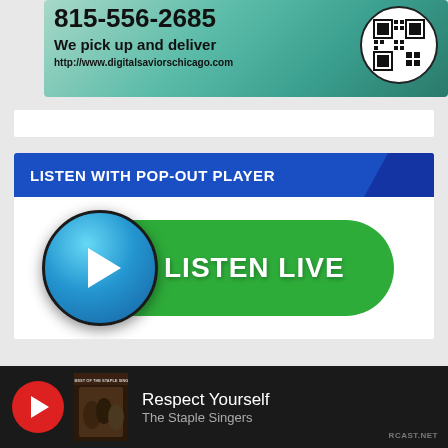[Figure (infographic): Advertisement banner with teal/green watercolor background showing phone number 815-556-2685, tagline 'We pick up and deliver', URL http://www.digitalsaviorschicago.com, and a QR code on the right side]
[Figure (infographic): Listen with pop-out player section: blue header bar with text 'LISTEN WITH POP-OUT PLAYER', below it a green rounded button with a blue play button circle on the left and white text 'LISTEN LIVE']
[Figure (infographic): Now playing bar at bottom: dark background, red play button, album art thumbnail for The Staple Singers, song title 'Respect Yourself' by 'The Staple Singers', RCAST.NET branding bottom right]